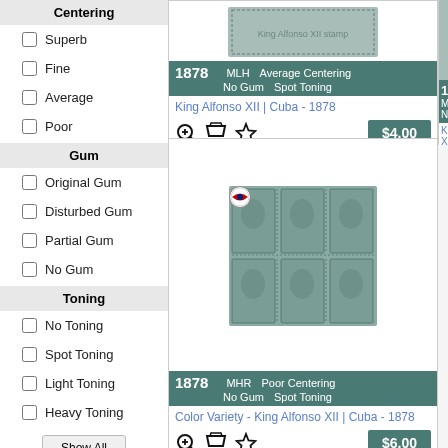Centering
Superb
Fine
Average
Poor
Gum
Original Gum
Disturbed Gum
Partial Gum
No Gum
Toning
No Toning
Spot Toning
Light Toning
Heavy Toning
[Figure (photo): Stamp card 1: 1878 King Alfonso XII Cuba stamp. MLH, Average Centering, No Gum, Spot Toning. Price $4.00]
King Alfonso XII | Cuba - 1878
[Figure (photo): Stamp card 2: 1878 Color Variety King Alfonso XII Cuba stamp block of 6. MHR, Poor Centering, No Gum, Spot Toning. Price $6.00]
Color Variety - King Alfonso XII | Cuba - 1878